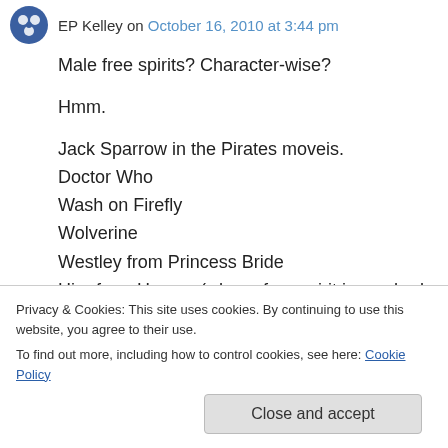EP Kelley on October 16, 2010 at 3:44 pm
Male free spirits? Character-wise?
Hmm.
Jack Sparrow in the Pirates moveis.
Doctor Who
Wash on Firefly
Wolverine
Westley from Princess Bride
Hiro from Heroes (whose free spirit is crushed as the show evolves)
Privacy & Cookies: This site uses cookies. By continuing to use this website, you agree to their use.
To find out more, including how to control cookies, see here: Cookie Policy